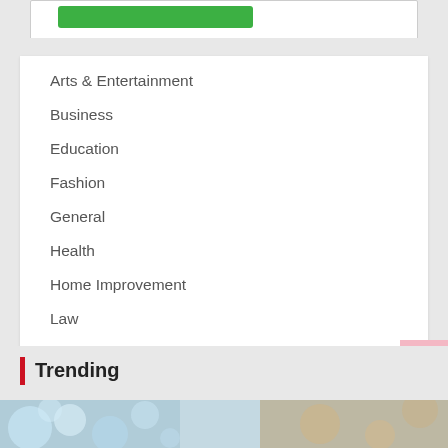[Figure (screenshot): Partial view of a card with a green button at the top]
Arts & Entertainment
Business
Education
Fashion
General
Health
Home Improvement
Law
Tech
Travel
Trending
[Figure (photo): Bokeh background photo with blurred light circles and warm tones]